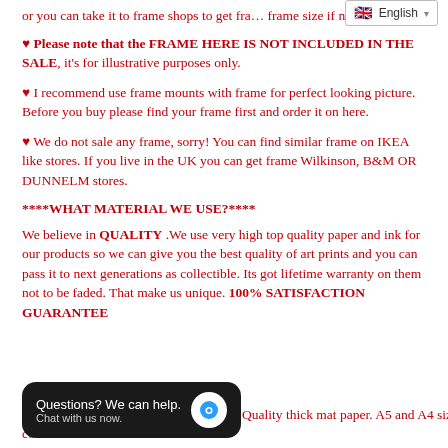or you can take it to frame shops to get fra… frame size if need to...
♥ Please note that the FRAME HERE IS NOT INCLUDED IN THE SALE, it's for illustrative purposes only.
♥ I recommend use frame mounts with frame for perfect looking picture. Before you buy please find your frame first and order it on here.
♥ We do not sale any frame, sorry! You can find similar frame on IKEA like stores. If you live in the UK you can get frame Wilkinson, B&M OR DUNNELM stores.
****WHAT MATERIAL WE USE?****
We believe in QUALITY .We use very high top quality paper and ink for our products so we can give you the best quality of art prints and you can pass it to next generations as collectible. Its got lifetime warranty on them not to be faded. That make us unique. 100% SATISFACTION GUARANTEE
…printed on non textured Acid free High Quality thick mat paper. A5 and A4 size comes in FLAT HARD BACK